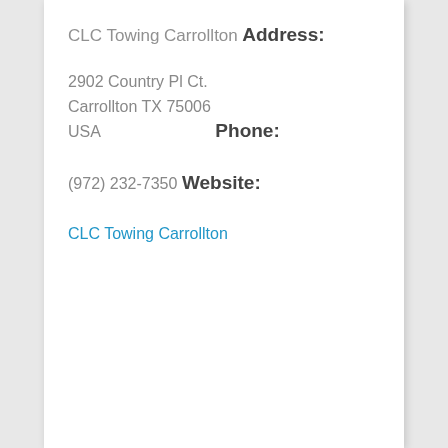CLC Towing Carrollton
Address:
2902 Country Pl Ct.
Carrollton TX 75006
USA
Phone:
(972) 232-7350
Website:
CLC Towing Carrollton